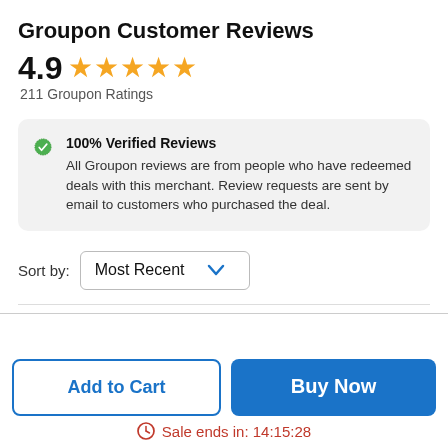Groupon Customer Reviews
4.9 ★★★★★ 211 Groupon Ratings
100% Verified Reviews
All Groupon reviews are from people who have redeemed deals with this merchant. Review requests are sent by email to customers who purchased the deal.
Sort by: Most Recent
Add to Cart
Buy Now
Sale ends in: 14:15:28